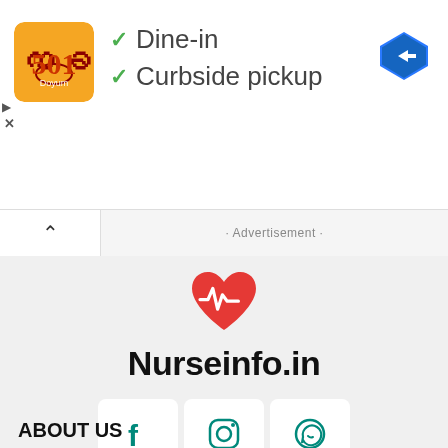[Figure (screenshot): Ad banner with orange restaurant logo, checkmarks for Dine-in and Curbside pickup, and a blue navigation arrow icon]
✓ Dine-in
✓ Curbside pickup
· Advertisement ·
[Figure (logo): Nurseinfo.in logo with red heart and white heartbeat line, and bold text Nurseinfo.in]
[Figure (infographic): Social media icons: Facebook, Instagram, WhatsApp]
ABOUT US